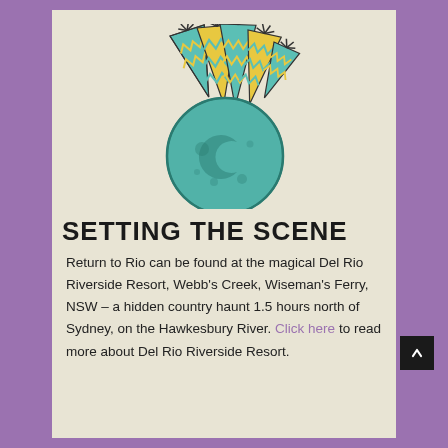[Figure (illustration): Cartoon teal/mint colored planet or ball with craters and a crescent moon shape, wearing colorful party hats (teal, gold/yellow with zigzag patterns) on top, with small star-like decorations]
SETTING THE SCENE
Return to Rio can be found at the magical Del Rio Riverside Resort, Webb's Creek, Wiseman's Ferry, NSW – a hidden country haunt 1.5 hours north of Sydney, on the Hawkesbury River. Click here to read more about Del Rio Riverside Resort.